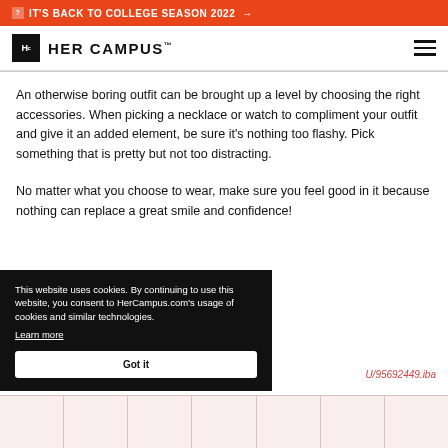IT'S BACK TO COLLEGE SEASON 2022 →
[Figure (logo): Her Campus logo with Hc icon and wordmark HER CAMPUS]
An otherwise boring outfit can be brought up a level by choosing the right accessories. When picking a necklace or watch to compliment your outfit and give it an added element, be sure it's nothing too flashy. Pick something that is pretty but not too distracting.
No matter what you choose to wear, make sure you feel good in it because nothing can replace a great smile and confidence!
This website uses cookies. By continuing to use this website, you consent to HerCampus.com's usage of cookies and similar technologies. Learn more  Got it
U/95692449.iba